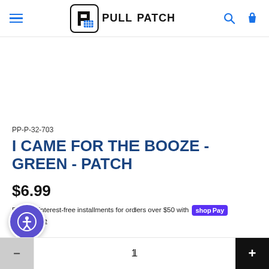PULL PATCH
PP-P-32-703
I CAME FOR THE BOOZE - GREEN - PATCH
$6.99
Pay in 4 interest-free installments for orders over $50 with Shop Pay Learn more
6 items left